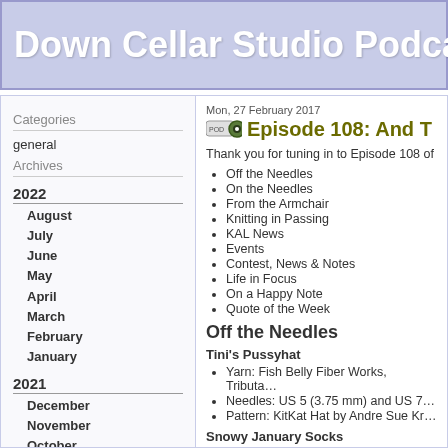Down Cellar Studio Podcast
Categories
general
Archives
2022
August
July
June
May
April
March
February
January
2021
December
November
October
September
August
Mon, 27 February 2017
Episode 108: And T…
Thank you for tuning in to Episode 108 of th…
Off the Needles
On the Needles
From the Armchair
Knitting in Passing
KAL News
Events
Contest, News & Notes
Life in Focus
On a Happy Note
Quote of the Week
Off the Needles
Tini's Pussyhat
Yarn: Fish Belly Fiber Works, Tributa…
Needles: US 5 (3.75 mm) and US 7…
Pattern: KitKat Hat by Andre Sue Kr…
Snowy January Socks